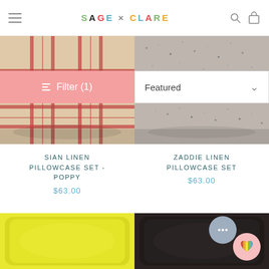Sage x Clare — navigation header with logo, hamburger menu, search and bag icons
[Figure (screenshot): Filter (1) pink button and Featured dropdown sort control]
[Figure (photo): Sian Linen Pillowcase Set - Poppy: red plaid/tartan rectangular pillow case]
[Figure (photo): Zaddie Linen Pillowcase Set: grey/silver confetti-print rectangular pillowcase]
SIAN LINEN PILLOWCASE SET - POPPY
$63.00
ZADDIE LINEN PILLOWCASE SET
$63.00
[Figure (photo): Yellow square pillow cushion]
[Figure (photo): Dark/black square pillow cushion]